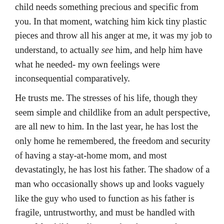child needs something precious and specific from you. In that moment, watching him kick tiny plastic pieces and throw all his anger at me, it was my job to understand, to actually see him, and help him have what he needed- my own feelings were inconsequential comparatively.
He trusts me. The stresses of his life, though they seem simple and childlike from an adult perspective, are all new to him. In the last year, he has lost the only home he remembered, the freedom and security of having a stay-at-home mom, and most devastatingly, he has lost his father. The shadow of a man who occasionally shows up and looks vaguely like the guy who used to function as his father is fragile, untrustworthy, and must be handled with care. My children cling to what they can eek out from the three hours a week he might show up, watching themselves and exercising protective care over the